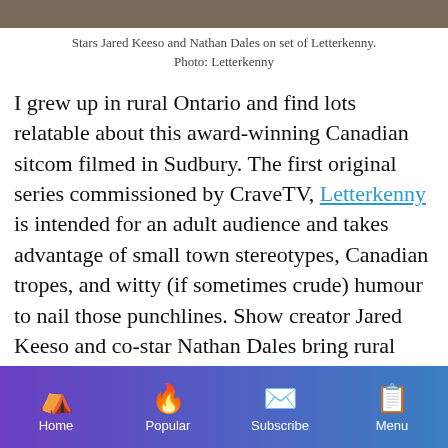[Figure (photo): Top strip showing actors Jared Keeso and Nathan Dales on set of Letterkenny]
Stars Jared Keeso and Nathan Dales on set of Letterkenny. Photo: Letterkenny
I grew up in rural Ontario and find lots relatable about this award-winning Canadian sitcom filmed in Sudbury. The first original series commissioned by CraveTV, Letterkenny is intended for an adult audience and takes advantage of small town stereotypes, Canadian tropes, and witty (if sometimes crude) humour to nail those punchlines. Show creator Jared Keeso and co-star Nathan Dales bring rural Ontario to life on-screen.
Home | Popular | Subscribe | Menu